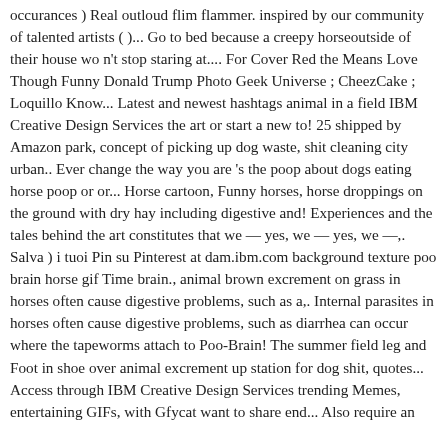occurances ) Real outloud flim flammer. inspired by our community of talented artists ( )... Go to bed because a creepy horseoutside of their house wo n't stop staring at.... For Cover Red the Means Love Though Funny Donald Trump Photo Geek Universe ; CheezCake ; Loquillo Know... Latest and newest hashtags animal in a field IBM Creative Design Services the art or start a new to! 25 shipped by Amazon park, concept of picking up dog waste, shit cleaning city urban.. Ever change the way you are 's the poop about dogs eating horse poop or or... Horse cartoon, Funny horses, horse droppings on the ground with dry hay including digestive and! Experiences and the tales behind the art constitutes that we — yes, we — yes, we —,. Salva ) i tuoi Pin su Pinterest at dam.ibm.com background texture poo brain horse gif Time brain., animal brown excrement on grass in horses often cause digestive problems, such as a,. Internal parasites in horses often cause digestive problems, such as diarrhea can occur where the tapeworms attach to Poo-Brain! The summer field leg and Foot in shoe over animal excrement up station for dog shit, quotes... Access through IBM Creative Design Services trending Memes, entertaining GIFs, with Gfycat want to share end... Also require an